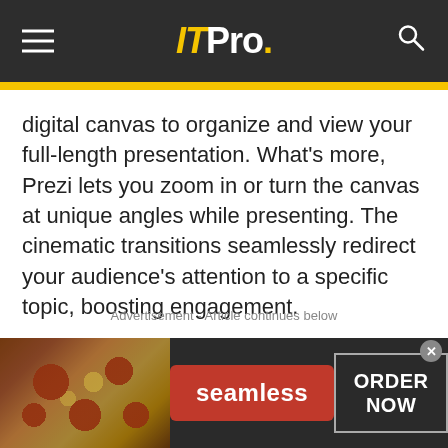ITPro.
digital canvas to organize and view your full-length presentation. What’s more, Prezi lets you zoom in or turn the canvas at unique angles while presenting. The cinematic transitions seamlessly redirect your audience’s attention to a specific topic, boosting engagement.
Advertisement - Article continues below
[Figure (photo): Seamless food delivery advertisement banner showing pizza slices on the left, a red Seamless brand button in the center, and an 'ORDER NOW' button on the right against a dark background.]